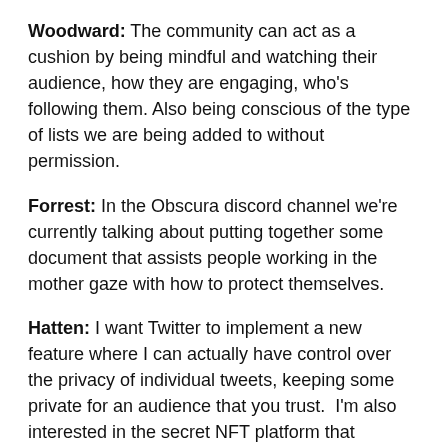Woodward: The community can act as a cushion by being mindful and watching their audience, how they are engaging, who's following them. Also being conscious of the type of lists we are being added to without permission.
Forrest: In the Obscura discord channel we're currently talking about putting together some document that assists people working in the mother gaze with how to protect themselves.
Hatten: I want Twitter to implement a new feature where I can actually have control over the privacy of individual tweets, keeping some private for an audience that you trust.  I'm also interested in the secret NFT platform that Quentin Tarantino is using.
Forrest: Limiting our reach and protecting our kids is